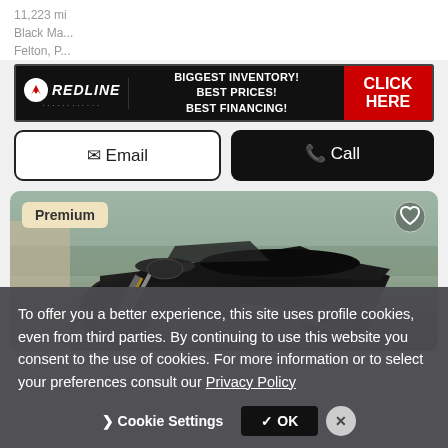11,223 mi
Black Ma...
Felton, P...
[Figure (advertisement): Redline dealer banner ad with logo, text 'BIGGEST INVENTORY! BEST PRICES! BEST FINANCING!' and red 'CLICK HERE' button]
[Figure (other): Email and Call buttons side by side — Email (outlined) and Call (black filled)]
[Figure (photo): Black sport motorcycle (Triumph or similar) photographed from left side angle, outdoors. Premium badge top left, heart icon top right.]
To offer you a better experience, this site uses profile cookies, even from third parties. By continuing to use this website you consent to the use of cookies. For more information or to select your preferences consult our Privacy Policy
[Figure (other): Cookie consent banner buttons: Cookie Settings (chevron) and OK (black button) and X close button]